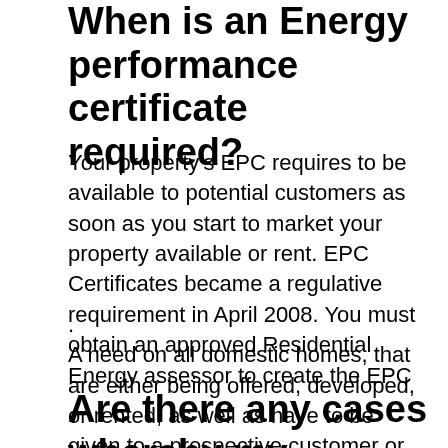When is an Energy performance certificate required?
Your property's EPC requires to be available to potential customers as soon as you start to market your property available or rent. EPC Certificates became a regulative requirement in April 2008. You must obtain an approved Residential Energy assessor to create the EPC
.
A need on all domestic homes, that are either being offered, developed, or rented, as well as have to be given to a prospective customer or renter free of charge.
Are there any cases whereby my building may be exempt?